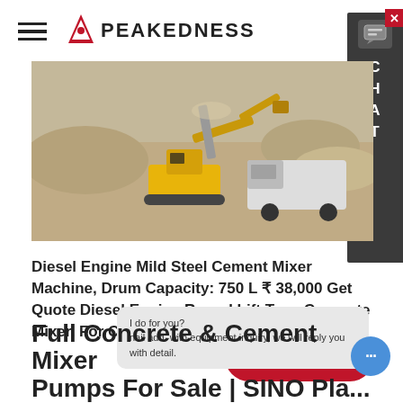PEAKEDNESS
[Figure (photo): Aerial view of a yellow excavator/construction machine working next to a white dump truck on a construction/quarry site with sandy/gravelly terrain and material piles.]
Diesel Engine Mild Steel Cement Mixer Machine, Drum Capacity: 750 L ₹ 38,000 Get Quote Diesel Engine Round Lift Type Concrete Mixer, For Construction, ₹ 1.2 Lakh
Learn More
I do for you?
nail add. with equipment inquiry, we will reply you with detail.
Full Concrete & Cement Mixer
Pumps For Sale | SINO Pla...